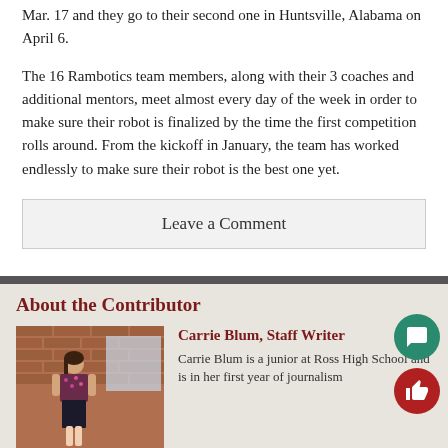Mar. 17 and they go to their second one in Huntsville, Alabama on April 6.
The 16 Rambotics team members, along with their 3 coaches and additional mentors, meet almost every day of the week in order to make sure their robot is finalized by the time the first competition rolls around. From the kickoff in January, the team has worked endlessly to make sure their robot is the best one yet.
Leave a Comment
About the Contributor
[Figure (photo): Photo of Carrie Blum standing in front of a brick wall, wearing a dark floral top and black skirt.]
Carrie Blum, Staff Writer
Carrie Blum is a junior at Ross High School and is in her first year of journalism